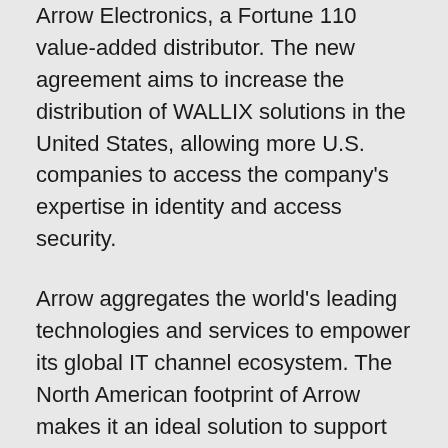Arrow Electronics, a Fortune 110 value-added distributor. The new agreement aims to increase the distribution of WALLIX solutions in the United States, allowing more U.S. companies to access the company's expertise in identity and access security.
Arrow aggregates the world's leading technologies and services to empower its global IT channel ecosystem. The North American footprint of Arrow makes it an ideal solution to support WALLIX's clients on large-scale projects. Through the new agreement, WALLIX enables enterprises to regain control of IT access on desktops, servers, cloud applications, and industrial networks with a portfolio of easy-to-implement solutions.